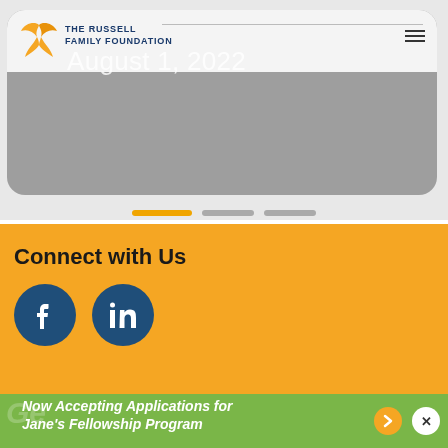[Figure (screenshot): Russell Family Foundation website screenshot showing logo with bird, 'THE RUSSELL FAMILY FOUNDATION' text, navigation hamburger menu, and date 'August 1, 2022' on a card/slide with gray background]
[Figure (other): Slider pagination dots: one active orange dot and two inactive gray dots]
Connect with Us
[Figure (infographic): Facebook and LinkedIn social media icon circles in dark blue on orange background]
Now Accepting Applications for Jane's Fellowship Program